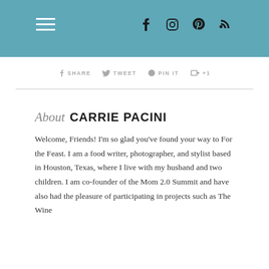Navigation header with hamburger menu and social icons (Facebook, Instagram, Pinterest, RSS)
SHARE  TWEET  PIN IT  +1
About CARRIE PACINI
Welcome, Friends! I'm so glad you've found your way to For the Feast. I am a food writer, photographer, and stylist based in Houston, Texas, where I live with my husband and two children. I am co-founder of the Mom 2.0 Summit and have also had the pleasure of participating in projects such as The Wine